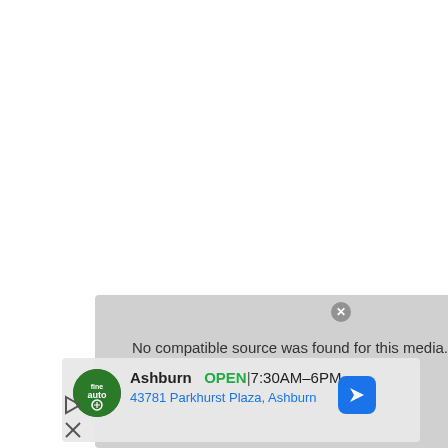[Figure (screenshot): White blank area taking up the top two-thirds of the page, representing a webpage or app screen with no content visible]
No compatible source was found for this media.
Ashburn   OPEN | 7:30AM–6PM
43781 Parkhurst Plaza, Ashburn